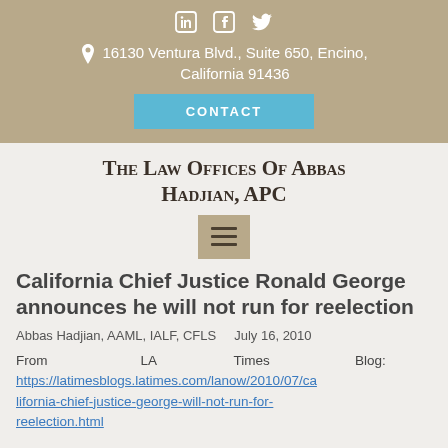16130 Ventura Blvd., Suite 650, Encino, California 91436
The Law Offices Of Abbas Hadjian, APC
California Chief Justice Ronald George announces he will not run for reelection
Abbas Hadjian, AAML, IALF, CFLS    July 16, 2010
From LA Times Blog: https://latimesblogs.latimes.com/lanow/2010/07/california-chief-justice-george-will-not-run-for-reelection.html